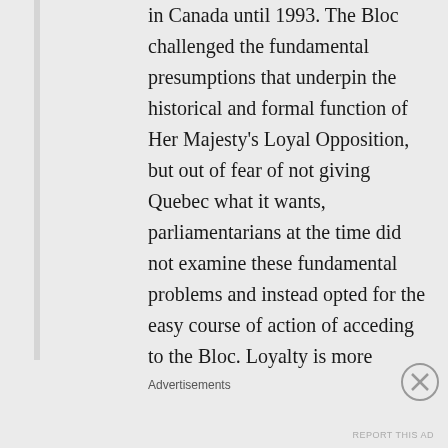in Canada until 1993. The Bloc challenged the fundamental presumptions that underpin the historical and formal function of Her Majesty's Loyal Opposition, but out of fear of not giving Quebec what it wants, parliamentarians at the time did not examine these fundamental problems and instead opted for the easy course of action of acceding to the Bloc. Loyalty is more
Advertisements